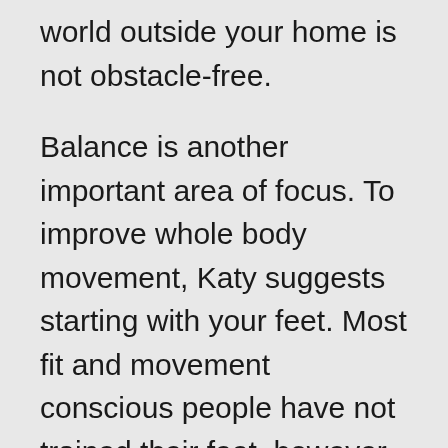world outside your home is not obstacle-free.
Balance is another important area of focus. To improve whole body movement, Katy suggests starting with your feet. Most fit and movement conscious people have not trained their feet, however there are basic exercises